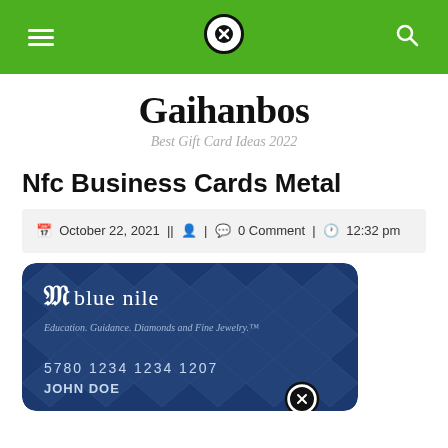Navigation bar with hamburger menu, close button, and search icon
Gaihanbos
Best Gift Card Ideas 2022
Nfc Business Cards Metal
October 22, 2021 || 0 Comment | 12:32 pm
[Figure (photo): Blue Nile gift card with diamond pattern background. Shows 'blue nile' logo, tagline 'Education. Guidance. Diamonds and Fine Jewelry.™', card number '5780 1234 1234 1207', and name 'JOHN DOE'.]